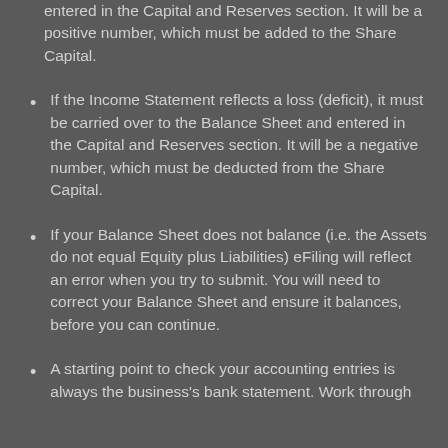entered in the Capital and Reserves section. It will be a positive number, which must be added to the Share Capital.
If the Income Statement reflects a loss (deficit), it must be carried over to the Balance Sheet and entered in the Capital and Reserves section. It will be a negative number, which must be deducted from the Share Capital.
If your Balance Sheet does not balance (i.e. the Assets do not equal Equity plus Liabilities) eFiling will reflect an error when you try to submit. You will need to correct your Balance Sheet and ensure it balances, before you can continue.
A starting point to check your accounting entries is always the business's bank statement. Work through